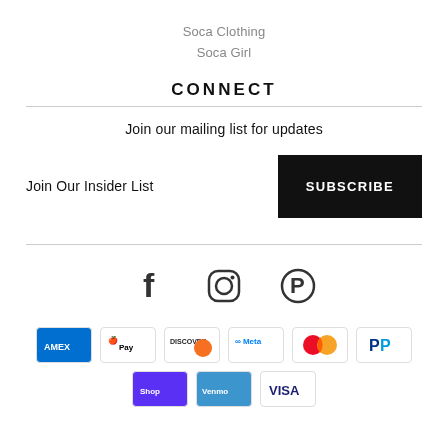Soca Clothing
Soca Girl
CONNECT
Join our mailing list for updates
Join Our Insider List
[Figure (screenshot): SUBSCRIBE button (black background, white text)]
[Figure (infographic): Social media icons: Facebook, Instagram, Pinterest]
[Figure (infographic): Payment method logos: American Express, Apple Pay, Discover, Meta Pay, Mastercard, PayPal, and more]